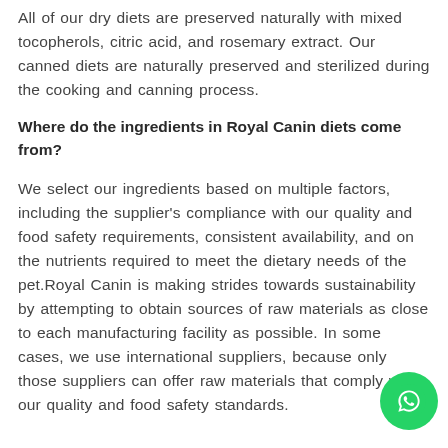All of our dry diets are preserved naturally with mixed tocopherols, citric acid, and rosemary extract. Our canned diets are naturally preserved and sterilized during the cooking and canning process.
Where do the ingredients in Royal Canin diets come from?
We select our ingredients based on multiple factors, including the supplier’s compliance with our quality and food safety requirements, consistent availability, and on the nutrients required to meet the dietary needs of the pet.Royal Canin is making strides towards sustainability by attempting to obtain sources of raw materials as close to each manufacturing facility as possible. In some cases, we use international suppliers, because only those suppliers can offer raw materials that comply with our quality and food safety standards.